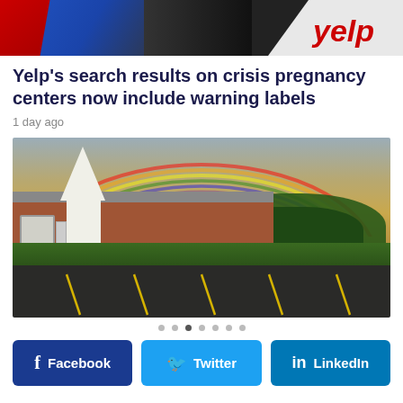[Figure (photo): Yelp logo banner at top of page]
Yelp's search results on crisis pregnancy centers now include warning labels
1 day ago
[Figure (photo): Brick church building with white steeple and rainbow in background, parking lot in foreground]
Social sharing buttons for Facebook, Twitter, LinkedIn